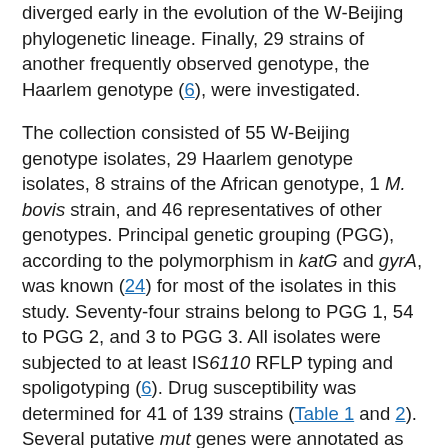diverged early in the evolution of the W-Beijing phylogenetic lineage. Finally, 29 strains of another frequently observed genotype, the Haarlem genotype (6), were investigated.
The collection consisted of 55 W-Beijing genotype isolates, 29 Haarlem genotype isolates, 8 strains of the African genotype, 1 M. bovis strain, and 46 representatives of other genotypes. Principal genetic grouping (PGG), according to the polymorphism in katG and gyrA, was known (24) for most of the isolates in this study. Seventy-four strains belong to PGG 1, 54 to PGG 2, and 3 to PGG 3. All isolates were subjected to at least IS6110 RFLP typing and spoligotyping (6). Drug susceptibility was determined for 41 of 139 strains (Table 1 and 2). Several putative mut genes were annotated as such in the released genome sequence of M. tuberculosis (25). In addition, using the BLAST program (30), we identified Rs 3000